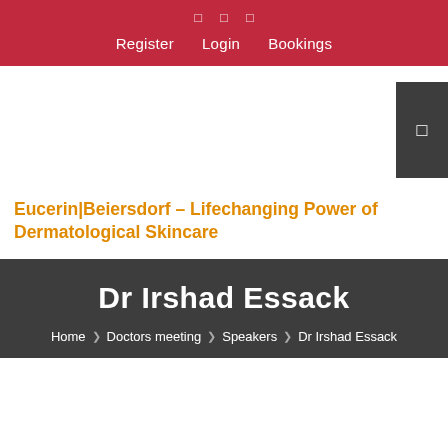Register  Login  Bookings
Eucerin|Beiersdorf – Lifechanging Power of Dermatological Skincare
Dr Irshad Essack
Home › Doctors meeting › Speakers › Dr Irshad Essack